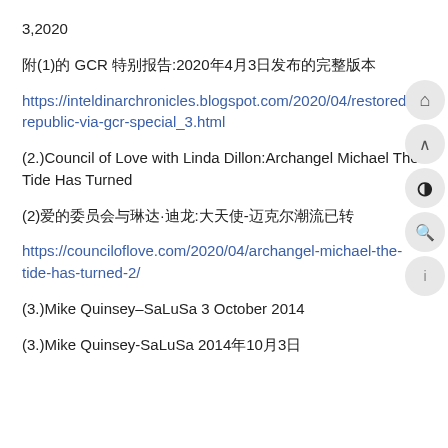3,2020
附(1)的 GCR 特别报告:2020年4月3日发布的完整版本
https://inteldinarchronicles.blogspot.com/2020/04/restored-republic-via-gcr-special_3.html
(2.)Council of Love with Linda Dillon:Archangel Michael The Tide Has Turned
(2)爱的委员会与琳达·迪龙:大天使-迈克尔潮流已转
https://counciloflove.com/2020/04/archangel-michael-the-tide-has-turned-2/
(3.)Mike Quinsey–SaLuSa 3 October 2014
(3.)Mike Quinsey-SaLuSa 2014年10月3日